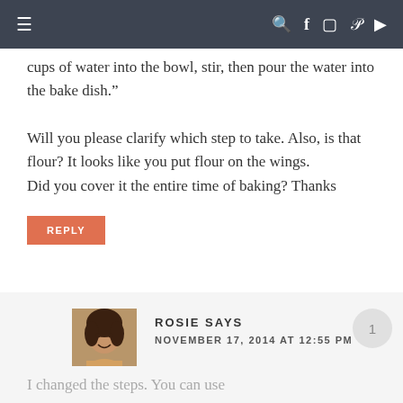Navigation bar with menu icon and social icons (search, facebook, instagram, pinterest, youtube)
cups of water into the bowl, stir, then pour the water into the bake dish."
Will you please clarify which step to take. Also, is that flour? It looks like you put flour on the wings.
Did you cover it the entire time of baking? Thanks
REPLY
ROSIE SAYS
NOVEMBER 17, 2014 AT 12:55 PM
I changed the steps. You can use